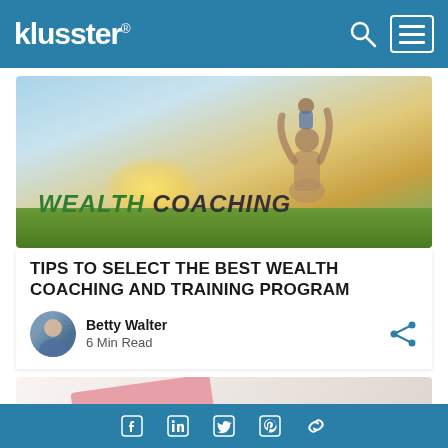klusster®
[Figure (photo): Hero image showing a person lifting a baby in a field at sunset, overlaid with text WEALTH COACHING]
TIPS TO SELECT THE BEST WEALTH COACHING AND TRAINING PROGRAM
Betty Walter
6 Min Read
[Figure (photo): Close-up photo of a pink tag/card with a percent sign symbol on a marble surface]
Social media icons: Facebook, LinkedIn, Twitter, Pinterest, Link